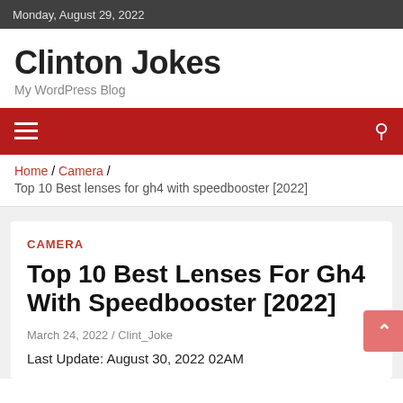Monday, August 29, 2022
Clinton Jokes
My WordPress Blog
Home / Camera / Top 10 Best lenses for gh4 with speedbooster [2022]
CAMERA
Top 10 Best Lenses For Gh4 With Speedbooster [2022]
March 24, 2022 / Clint_Joke
Last Update: August 30, 2022 02AM